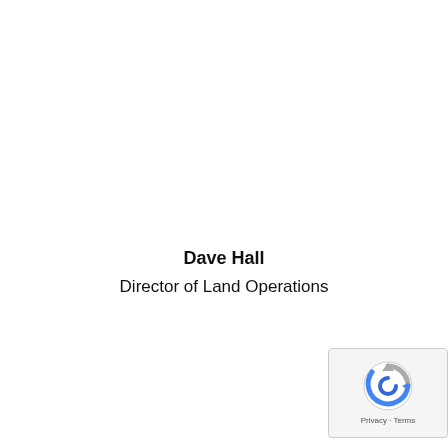Dave Hall
Director of Land Operations
[Figure (logo): reCAPTCHA badge with Privacy and Terms links]